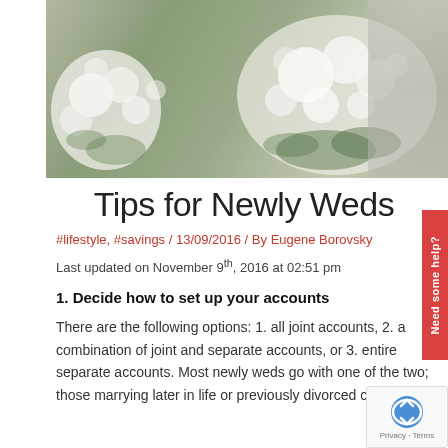[Figure (photo): Wedding photo showing bride and groom holding white flower bouquets, blurred background with white flowers and greenery]
Tips for Newly Weds
#lifestyle, #savings / 13/09/2016 / By Eugene Borovsky
Last updated on November 9th, 2016 at 02:51 pm
1. Decide how to set up your accounts
There are the following options: 1. all joint accounts, 2. a combination of joint and separate accounts, or 3. entire separate accounts. Most newly weds go with one of the two; those marrying later in life or previously divorced couples